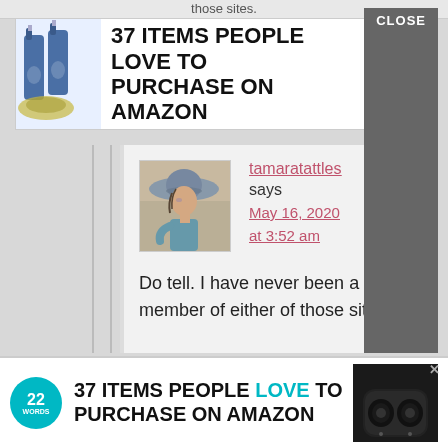those sites.
[Figure (screenshot): Advertisement banner: '37 ITEMS PEOPLE LOVE TO PURCHASE ON AMAZON' with 22 Words logo and product image of spray bottles]
[Figure (photo): Avatar/profile picture showing an impressionistic painting of a person wearing a large hat]
tamaratattles says May 16, 2020 at 3:52 am
Do tell. I have never been a member of either of those sites.
[Figure (screenshot): Advertisement banner at bottom: '37 ITEMS PEOPLE LOVE TO PURCHASE ON AMAZON' with 22 Words logo and earbuds image, with CLOSE button]